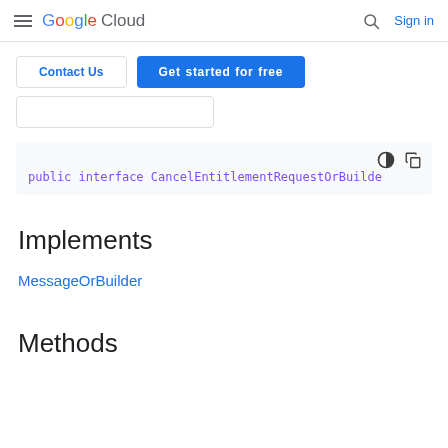Google Cloud — Sign in
Contact Us | Get started for free
[Figure (screenshot): Partial search box input field]
public interface CancelEntitlementRequestOrBuilde
Implements
MessageOrBuilder
Methods